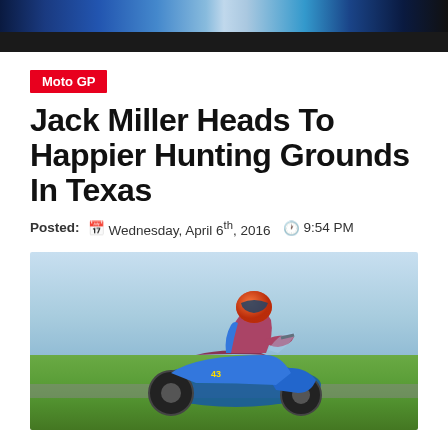[Figure (photo): Top banner with motorcycle racing imagery and dark bar]
Moto GP
Jack Miller Heads To Happier Hunting Grounds In Texas
Posted: Wednesday, April 6th, 2016  9:54 PM
[Figure (photo): Jack Miller riding a blue Honda motorcycle on a racing track, leaning forward in full racing gear]